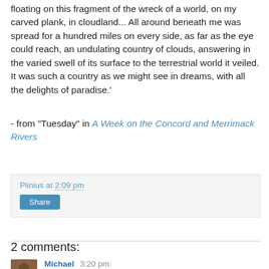floating on this fragment of the wreck of a world, on my carved plank, in cloudland... All around beneath me was spread for a hundred miles on every side, as far as the eye could reach, an undulating country of clouds, answering in the varied swell of its surface to the terrestrial world it veiled. It was such a country as we might see in dreams, with all the delights of paradise.'
- from "Tuesday" in A Week on the Concord and Merrimack Rivers
Plinius at 2:09 pm
Share
2 comments:
Michael 3:20 pm
Yes, "Poets On the Peaks" is a wonderful book. I had the wonderful opportunity recently to attend a Gary Snyder